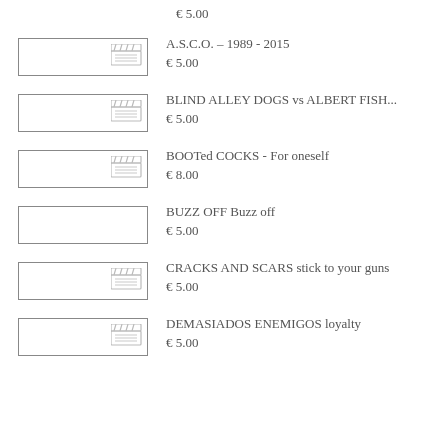€ 5.00
[Figure (illustration): Film clapper icon in a rectangle thumbnail]
A.S.C.O. – 1989 - 2015
€ 5.00
[Figure (illustration): Film clapper icon in a rectangle thumbnail]
BLIND ALLEY DOGS vs ALBERT FISH...
€ 5.00
[Figure (illustration): Film clapper icon in a rectangle thumbnail]
BOOTed COCKS - For oneself
€ 8.00
[Figure (illustration): Rectangle thumbnail, no clapper icon]
BUZZ OFF Buzz off
€ 5.00
[Figure (illustration): Film clapper icon in a rectangle thumbnail]
CRACKS AND SCARS stick to your guns
€ 5.00
[Figure (illustration): Film clapper icon in a rectangle thumbnail]
DEMASIADOS ENEMIGOS loyalty
€ 5.00